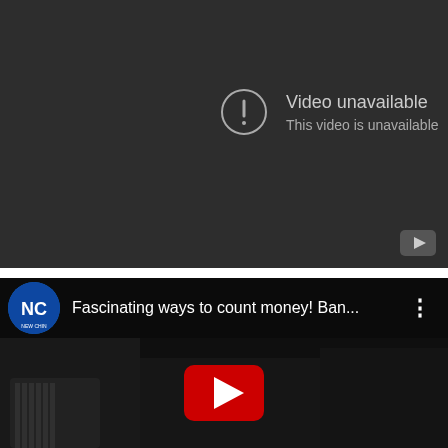[Figure (screenshot): YouTube embedded video player showing 'Video unavailable' error message with exclamation mark icon in a circle on a dark gray background. A small YouTube logo button appears in the bottom right corner.]
[Figure (screenshot): YouTube video thumbnail/player for 'Fascinating ways to count money! Ban...' by NEW CHINA channel, showing a dark video still of hands counting money with a large red YouTube play button in the center. Channel logo (blue circle with NC letters) and three-dot menu icon visible in header bar.]